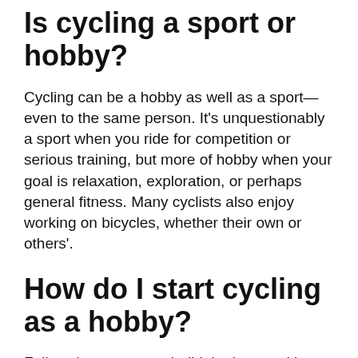Is cycling a sport or hobby?
Cycling can be a hobby as well as a sport—even to the same person. It’s unquestionably a sport when you ride for competition or serious training, but more of hobby when your goal is relaxation, exploration, or perhaps general fitness. Many cyclists also enjoy working on bicycles, whether their own or others’.
How do I start cycling as a hobby?
Follow these steps to build the legs and lungs of a cyclist.
1. Start easy. Don’t try to to do too much